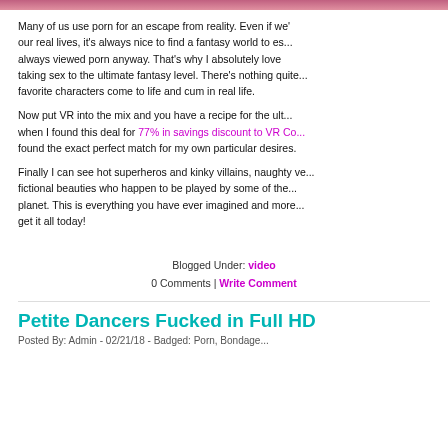[Figure (photo): Partial top image strip, pink/red toned photo at the very top of the page]
Many of us use porn for an escape from reality. Even if we're happy in our real lives, it's always nice to find a fantasy world to es... always viewed porn anyway. That's why I absolutely love taking sex to the ultimate fantasy level. There's nothing quite... favorite characters come to life and cum in real life.
Now put VR into the mix and you have a recipe for the ult... when I found this deal for 77% in savings discount to VR Co... found the exact perfect match for my own particular desires.
Finally I can see hot superheros and kinky villains, naughty ve... fictional beauties who happen to be played by some of the... planet. This is everything you have ever imagined and more... get it all today!
Blogged Under: video
0 Comments | Write Comment
Petite Dancers Fucked in Full HD
Posted By: Admin - 02/21/18 - Badged: Porn, Bondage...